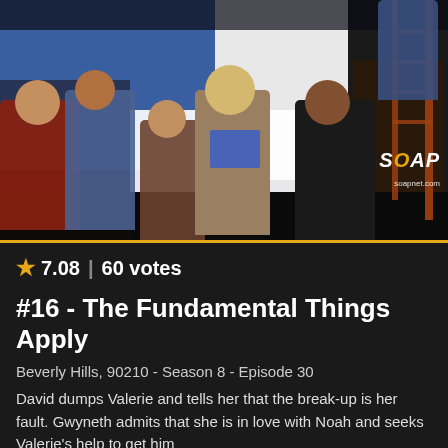[Figure (photo): A TV show production scene with multiple people on a studio set. A blonde woman in the center appears to be running/moving, holding blue papers. People around her include crew members and actors. A ladder is visible on the right side. The Soapnet.com watermark is visible in the bottom right corner.]
★ 7.08 | 60 votes
#16 - The Fundamental Things Apply
Beverly Hills, 90210 - Season 8 - Episode 30
David dumps Valerie and tells her that the break-up is her fault. Gwyneth admits that she is in love with Noah and seeks Valerie's help to get him